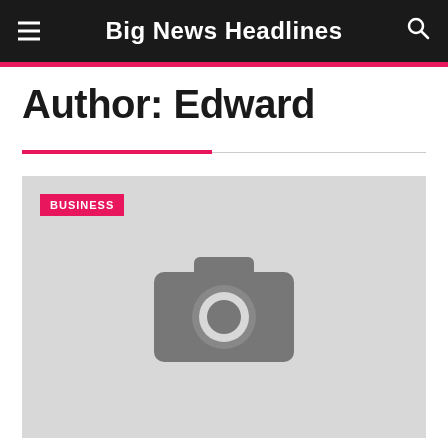Big News Headlines
Author: Edward
[Figure (photo): Placeholder image with camera icon and BUSINESS category badge]